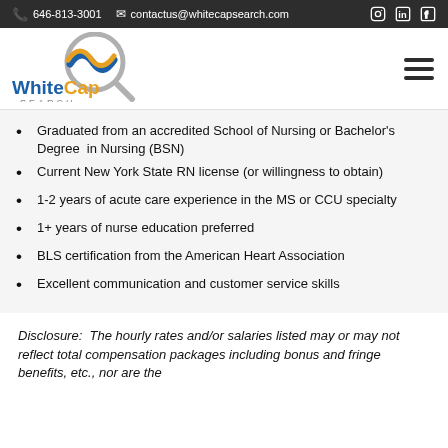646-813-3001   contactus@whitecapsearch.com
[Figure (logo): WhiteCap Search logo with wave/magnifying glass icon]
Graduated from an accredited School of Nursing or Bachelor's Degree in Nursing (BSN)
Current New York State RN license (or willingness to obtain)
1-2 years of acute care experience in the MS or CCU specialty
1+ years of nurse education preferred
BLS certification from the American Heart Association
Excellent communication and customer service skills
Disclosure:  The hourly rates and/or salaries listed may or may not reflect total compensation packages including bonus and fringe benefits, etc., nor are the